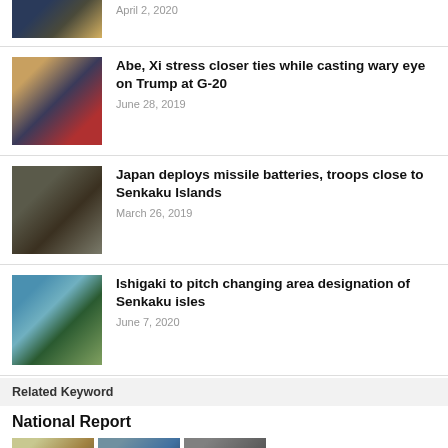[Figure (photo): Partial top image, person with flag/insignia]
April 2, 2020
[Figure (photo): Abe and Xi standing together at G-20]
Abe, Xi stress closer ties while casting wary eye on Trump at G-20
June 28, 2019
[Figure (photo): Japan missile battery truck]
Japan deploys missile batteries, troops close to Senkaku Islands
March 26, 2019
[Figure (photo): Senkaku/aerial island view]
Ishigaki to pitch changing area designation of Senkaku isles
June 7, 2020
Related Keyword
National Report
[Figure (photo): Three small thumbnails at bottom]